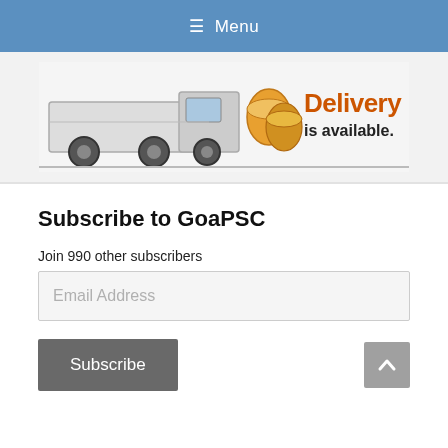≡ Menu
[Figure (illustration): Advertisement banner showing a delivery truck with coins and the text 'Delivery is available.']
Subscribe to GoaPSC
Join 990 other subscribers
Email Address
Subscribe